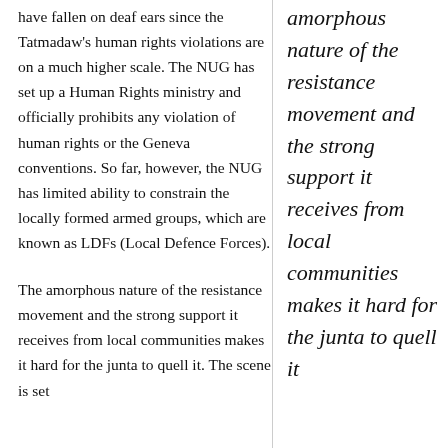have fallen on deaf ears since the Tatmadaw's human rights violations are on a much higher scale. The NUG has set up a Human Rights ministry and officially prohibits any violation of human rights or the Geneva conventions. So far, however, the NUG has limited ability to constrain the locally formed armed groups, which are known as LDFs (Local Defence Forces).
The amorphous nature of the resistance movement and the strong support it receives from local communities makes it hard for the junta to quell it. The scene is set
amorphous nature of the resistance movement and the strong support it receives from local communities makes it hard for the junta to quell it